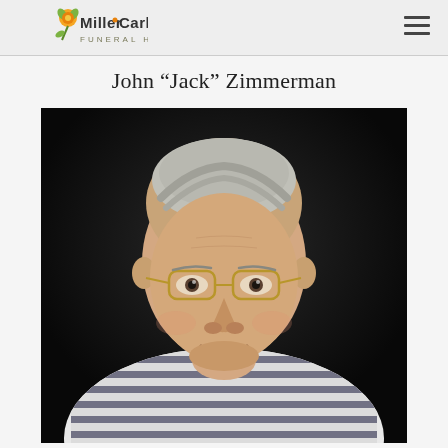Miller-Carlin Funeral Homes
John “Jack” Zimmerman
[Figure (photo): Portrait photo of John 'Jack' Zimmerman, an elderly man with short gray hair, wearing glasses and a white and navy striped polo shirt, smiling gently against a dark background.]